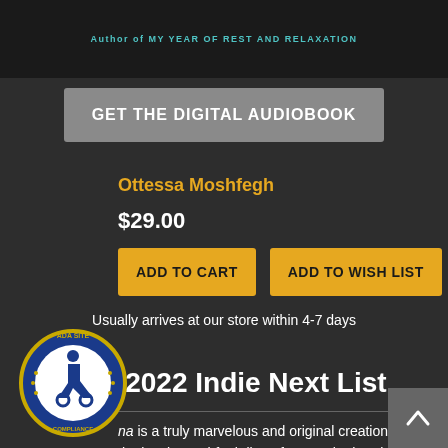Author of MY YEAR OF REST AND RELAXATION
GET THE DIGITAL AUDIOBOOK
Ottessa Moshfegh
$29.00
ADD TO CART
ADD TO WISH LIST
Usually arrives at our store within 4-7 days
July 2022 Indie Next List
na is a truly marvelous and original creation
alks the iconic Moshfegh line of stomach-
churning and profound. This book has its